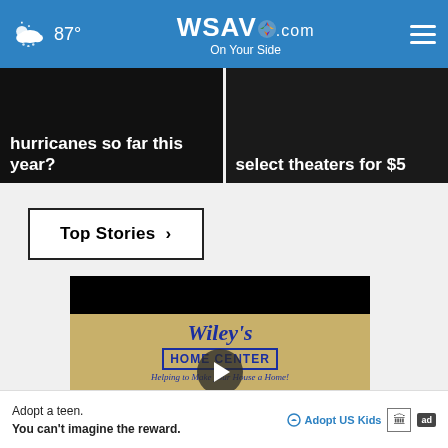87° WSAV.com On Your Side
[Figure (screenshot): News card: text 'hurricanes so far this year?' on dark background]
[Figure (screenshot): News card: text 'select theaters for $5' on dark background]
Top Stories ›
[Figure (screenshot): Video player showing Wiley's Home Center ad with play button overlay and close button. Subtitle bar shows 'Hwy ReplayDincon']
Adopt a teen. You can't imagine the reward. Adopt US Kids ad